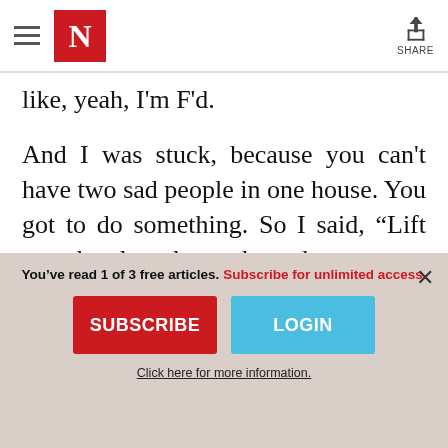Newsweek — hamburger menu, N logo, Share button
like, yeah, I'm F'd.
And I was stuck, because you can't have two sad people in one house. You got to do something. So I said, “Lift your head up, leave the sadness to me. Let me be sad.” When she gets like that, I’m just like, “It’s nothing, it’s nothing, I’m going to be okay.” But I know deep down like, “Damn, what am I really
You’ve read 1 of 3 free articles. Subscribe for unlimited access.
SUBSCRIBE
LOGIN
Click here for more information.